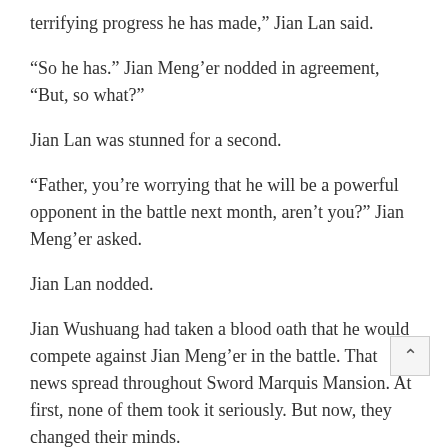terrifying progress he has made,” Jian Lan said.
“So he has.” Jian Meng’er nodded in agreement, “But, so what?”
Jian Lan was stunned for a second.
“Father, you’re worrying that he will be a powerful opponent in the battle next month, aren’t you?” Jian Meng’er asked.
Jian Lan nodded.
Jian Wushuang had taken a blood oath that he would compete against Jian Meng’er in the battle. That news spread throughout Sword Marquis Mansion. At first, none of them took it seriously. But now, they changed their minds.